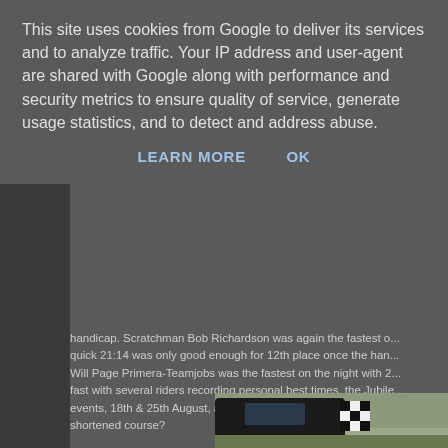This site uses cookies from Google to deliver its services and to analyze traffic. Your IP address and user-agent are shared with Google along with performance and security metrics to ensure quality of service, generate usage statistics, and to detect and address abuse.
LEARN MORE   OK
handicap. Scratchman Bob Richardson was again the fastest o... quick 21:14 was only good enough for 12th place once the han... Will Page Primera-Teamjobs was the fastest on the night with 2... fast with several riders recording personal best times, the Jubile... events, 18th & 25th August, although planned road works near ... shortened course?
[Figure (photo): Outdoor photo of two people sitting next to a black car with a checkered flag. A man leans forward looking at papers and a woman sits on a blanket next to the car. Taken at what appears to be a cycling or motorsport event.]